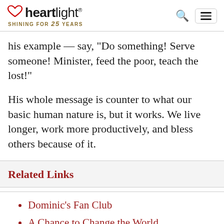heartlight® SHINING FOR 25 YEARS
his example — say, "Do something! Serve someone! Minister, feed the poor, teach the lost!"
His whole message is counter to what our basic human nature is, but it works. We live longer, work more productively, and bless others because of it.
Related Links
Dominic's Fan Club
A Chance to Change the World